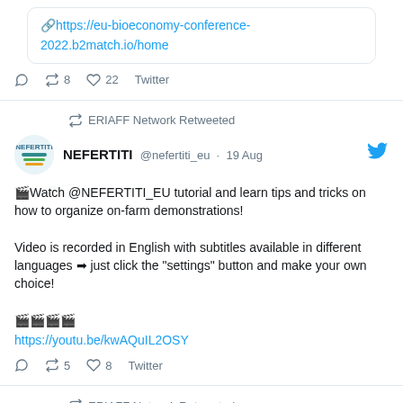https://eu-bioeconomy-conference-2022.b2match.io/home
reply 0  retweet 8  like 22  Twitter
ERIAFF Network Retweeted
NEFERTITI @nefertiti_eu · 19 Aug
🎬Watch @NEFERTITI_EU tutorial and learn tips and tricks on how to organize on-farm demonstrations!

Video is recorded in English with subtitles available in different languages ➡ just click the "settings" button and make your own choice!

🎬🎬🎬🎬
https://youtu.be/kwAQuIL2OSY
reply 0  retweet 5  like 8  Twitter
ERIAFF Network Retweeted
Colombe Warin 🌍🌱 @colombewarin · 29 Jun
#biodiversity loss is uprooting #nature & effecting